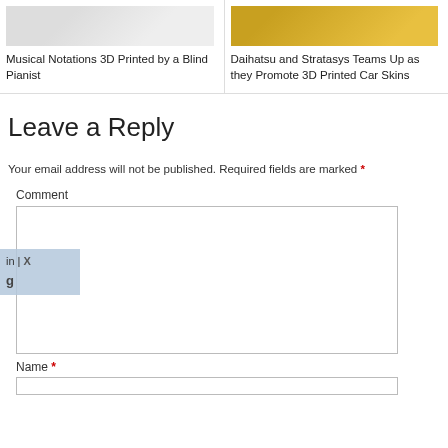[Figure (photo): Cropped photo of 3D printed musical notations, light colored texture on white background]
Musical Notations 3D Printed by a Blind Pianist
[Figure (photo): Cropped photo of a gold/yellow 3D printed car skin on a Daihatsu vehicle]
Daihatsu and Stratasys Teams Up as they Promote 3D Printed Car Skins
Leave a Reply
Your email address will not be published. Required fields are marked *
Comment
Name *